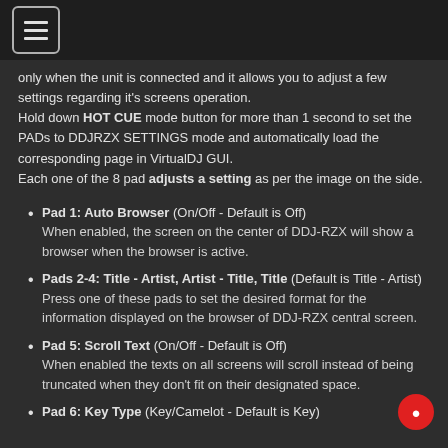[hamburger menu icon]
only when the unit is connected and it allows you to adjust a few settings regarding it's screens operation.
Hold down HOT CUE mode button for more than 1 second to set the PADs to DDJRZX SETTINGS mode and automatically load the corresponding page in VirtualDJ GUI.
Each one of the 8 pad adjusts a setting as per the image on the side.
Pad 1: Auto Browser (On/Off - Default is Off)
When enabled, the screen on the center of DDJ-RZX will show a browser when the browser is active.
Pads 2-4: Title - Artist, Artist - Title, Title (Default is Title - Artist)
Press one of these pads to set the desired format for the information displayed on the browser of DDJ-RZX central screen.
Pad 5: Scroll Text (On/Off - Default is Off)
When enabled the texts on all screens will scroll instead of being truncated when they don't fit on their designated space.
Pad 6: Key Type (Key/Camelot - Default is Key)